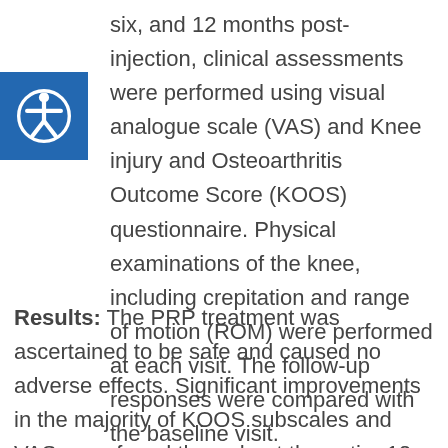six, and 12 months post-injection, clinical assessments were performed using visual analogue scale (VAS) and Knee injury and Osteoarthritis Outcome Score (KOOS) questionnaire. Physical examinations of the knee, including crepitation and range of motion (ROM) were performed at each visit. The follow-up responses were compared with the baseline visit.
Results: The PRP treatment was ascertained to be safe and caused no adverse effects. Significant improvements in the majority of KOOS subscales and VAS were found throughout the entire 12 months